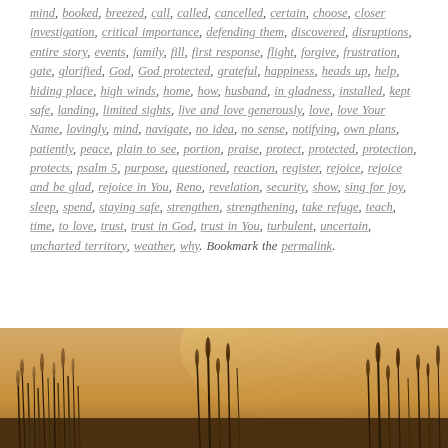mind, booked, breezed, call, called, cancelled, certain, choose, closer investigation, critical importance, defending them, discovered, disruptions, entire story, events, family, fill, first response, flight, forgive, frustration, gate, glorified, God, God protected, grateful, happiness, heads up, help, hiding place, high winds, home, how, husband, in gladness, installed, kept safe, landing, limited sights, live and love generously, love, love Your Name, lovingly, mind, navigate, no idea, no sense, notifying, own plans, patiently, peace, plain to see, portion, praise, protect, protected, protection, protects, psalm 5, purpose, questioned, reaction, register, rejoice, rejoice and be glad, rejoice in You, Reno, revelation, security, show, sing for joy, sleep, spend, staying safe, strengthen, strengthening, take refuge, teach, time, to love, trust, trust in God, trust in You, turbulent, uncertain, uncharted territory, weather, why. Bookmark the permalink.
[Figure (photo): A warm golden-toned nature photo showing tall grass or reeds with a hazy, glowing background light.]